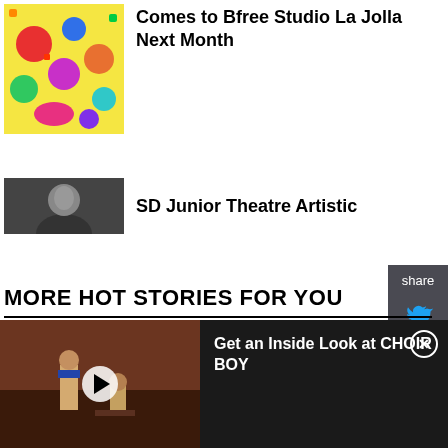[Figure (photo): Colorful folk art painting thumbnail]
Comes to Bfree Studio La Jolla Next Month
[Figure (photo): Person headshot thumbnail in dark tones]
SD Junior Theatre Artistic
MORE HOT STORIES FOR YOU
[Figure (screenshot): Share sidebar with Twitter and Facebook icons]
[Figure (photo): Video thumbnail of two people on stage, with play button overlay]
Get an Inside Look at CHOIR BOY